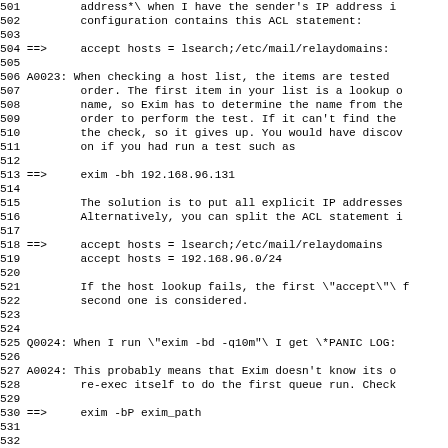Lines 501-532 of a monospace FAQ/documentation text about Exim mail server configuration, covering ACL statements, host list checking (A0023), IP address lookups, Q0024/A0024 about PANIC LOG when running exim -bd -q10m